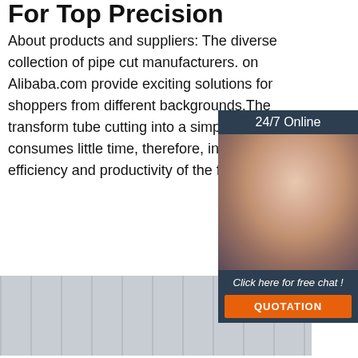For Top Precision
About products and suppliers: The diverse collection of pipe cut manufacturers. on Alibaba.com provide exciting solutions for shoppers from different backgrounds.The transform tube cutting into a simple task consumes little time, therefore, increasin efficiency and productivity of the firm.
[Figure (other): Green 'Get Price' button]
[Figure (photo): Building facade with pipes and windows]
[Figure (infographic): 24/7 Online chat widget with agent photo, 'Click here for free chat!' text and QUOTATION button]